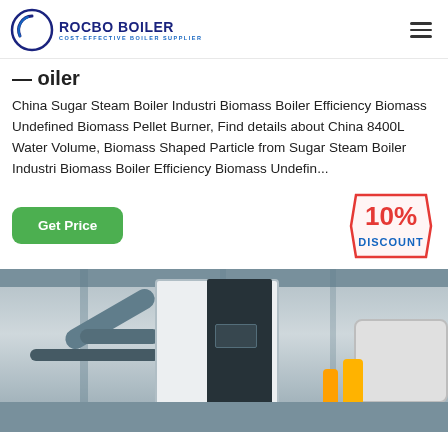ROCBO BOILER — COST-EFFECTIVE BOILER SUPPLIER
Boiler
China Sugar Steam Boiler Industri Biomass Boiler Efficiency Biomass Undefined Biomass Pellet Burner, Find details about China 8400L Water Volume, Biomass Shaped Particle from Sugar Steam Boiler Industri Biomass Boiler Efficiency Biomass Undefin...
[Figure (other): Green 'Get Price' button and 10% discount badge]
[Figure (photo): Industrial boiler equipment in a factory/warehouse setting showing large white boiler units, pipes, and tanks]